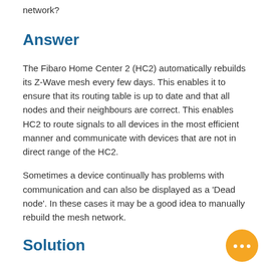network?
Answer
The Fibaro Home Center 2 (HC2) automatically rebuilds its Z-Wave mesh every few days. This enables it to ensure that its routing table is up to date and that all nodes and their neighbours are correct. This enables HC2 to route signals to all devices in the most efficient manner and communicate with devices that are not in direct range of the HC2.
Sometimes a device continually has problems with communication and can also be displayed as a 'Dead node'. In these cases it may be a good idea to manually rebuild the mesh network.
Solution
[Figure (illustration): Orange circular chat/messaging button with three dots in the center, positioned in the bottom-right corner]